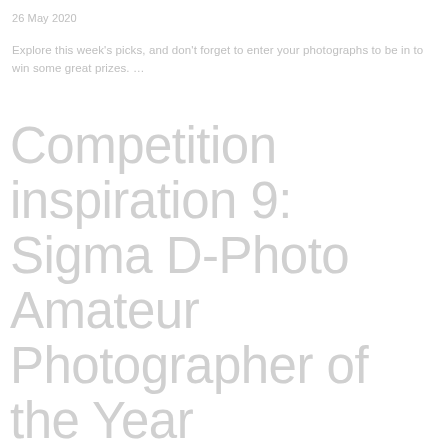26 May 2020
Explore this week's picks, and don't forget to enter your photographs to be in to win some great prizes. …
Competition inspiration 9: Sigma D-Photo Amateur Photographer of the Year